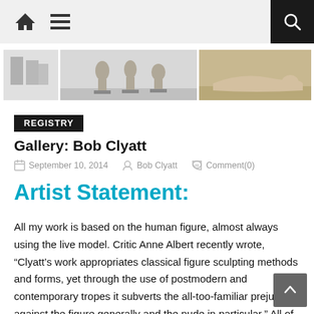Navigation bar with home, menu, and search icons
[Figure (photo): Two sculpture photographs side by side — left shows standing figures on pedestals, right shows a reclining nude figure]
REGISTRY
Gallery: Bob Clyatt
September 10, 2014  Bob Clyatt  Comment(0)
Artist Statement:
All my work is based on the human figure, almost always using the live model. Critic Anne Albert recently wrote, “Clyatt’s work appropriates classical figure sculpting methods and forms, yet through the use of postmodern and contemporary tropes it subverts the all-too-familiar prejudices against the figure generally and the nude in particular.” All of us working with the nude have stories: Public art commissions declined, gallerists